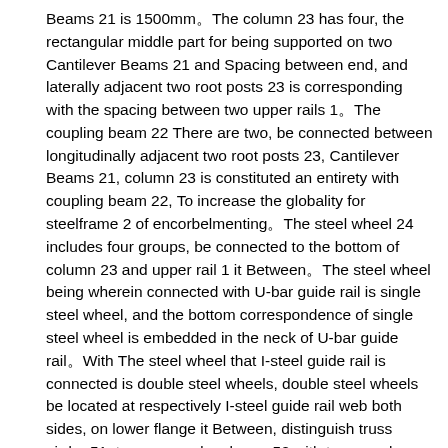Beams 21 is 1500mm。The column 23 has four, the rectangular middle part for being supported on two Cantilever Beams 21 and Spacing between end, and laterally adjacent two root posts 23 is corresponding with the spacing between two upper rails 1。The coupling beam 22 There are two, be connected between longitudinally adjacent two root posts 23, Cantilever Beams 21, column 23 is constituted an entirety with coupling beam 22, To increase the globality for steelframe 2 of encorbelmenting。The steel wheel 24 includes four groups, be connected to the bottom of column 23 and upper rail 1 it Between。The steel wheel being wherein connected with U-bar guide rail is single steel wheel, and the bottom correspondence of single steel wheel is embedded in the neck of U-bar guide rail。With The steel wheel that I-steel guide rail is connected is double steel wheels, double steel wheels be located at respectively I-steel guide rail web both sides, on lower flange it Between, distinguish truss girder 51, truss secondary beam 52 with two panels backing plate 11 up and down and split bolt 10 and be connected using anchor ear form, truss The welding H-bar guide rail of backing plate 11 of the upside of secondary beam 52 is particularly bonded with the